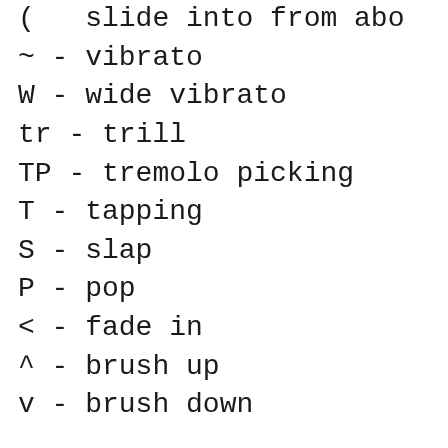( - slide into from abo[ve]
~ - vibrato
W - wide vibrato
tr - trill
TP - tremolo picking
T - tapping
S - slap
P - pop
< - fade in
^ - brush up
v - brush down